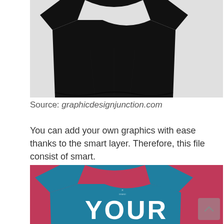[Figure (photo): Photo of a black t-shirt laid flat on a light gray/white surface, shot from above, showing the body of the shirt folded.]
Source: graphicdesignjunction.com
You can add your own graphics with ease thanks to the smart layer. Therefore, this file consist of smart.
[Figure (photo): Photo of a teal/blue t-shirt on a pink/magenta background. The shirt has large white bold text 'YOUR' printed on the front chest area.]